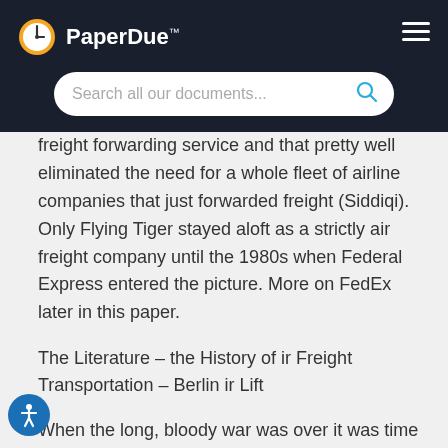PaperDue™
freight forwarding service and that pretty well eliminated the need for a whole fleet of airline companies that just forwarded freight (Siddiqi). Only Flying Tiger stayed aloft as a strictly air freight company until the 1980s when Federal Express entered the picture. More on FedEx later in this paper.
The Literature – the History of ir Freight Transportation – Berlin ir Lift
When the long, bloody war was over it was time for the winning llies to divide up the territory that once